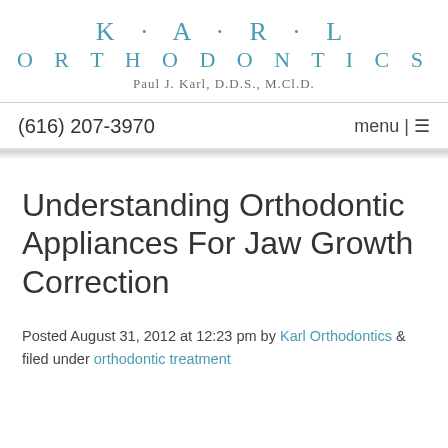KARL ORTHODONTICS
Paul J. Karl, D.D.S., M.Cl.D.
(616) 207-3970   menu |≡
Understanding Orthodontic Appliances For Jaw Growth Correction
Posted August 31, 2012 at 12:23 pm by Karl Orthodontics & filed under orthodontic treatment